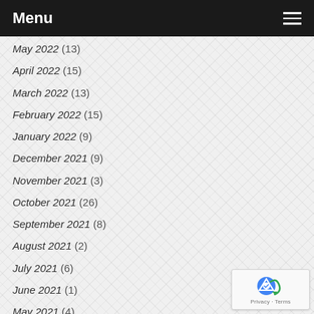Menu
May 2022 (13)
April 2022 (15)
March 2022 (13)
February 2022 (15)
January 2022 (9)
December 2021 (9)
November 2021 (3)
October 2021 (26)
September 2021 (8)
August 2021 (2)
July 2021 (6)
June 2021 (1)
May 2021 (4)
April 2021 (35)
March 2021 (46)
February 2021 (62)